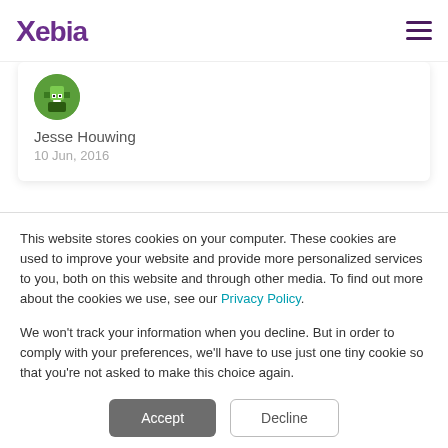Xebia
[Figure (photo): Avatar/profile photo of Jesse Houwing — circular green pixel-art style avatar]
Jesse Houwing
10 Jun, 2016
This website stores cookies on your computer. These cookies are used to improve your website and provide more personalized services to you, both on this website and through other media. To find out more about the cookies we use, see our Privacy Policy.
We won't track your information when you decline. But in order to comply with your preferences, we'll have to use just one tiny cookie so that you're not asked to make this choice again.